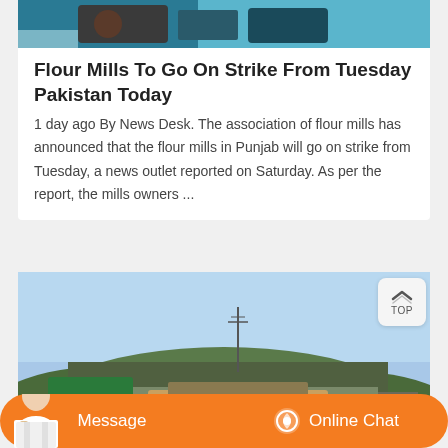[Figure (photo): Top portion of a news article card showing a partial photo (dark/cyan colors, appears to be vehicles or machinery)]
Flour Mills To Go On Strike From Tuesday Pakistan Today
1 day ago By News Desk. The association of flour mills has announced that the flour mills in Punjab will go on strike from Tuesday, a news outlet reported on Saturday. As per the report, the mills owners ...
[Figure (photo): Second news article card showing a landscape photo with a hill covered in trees, blue sky, power lines, and what appears to be a road or railway with machinery in the foreground]
Message   Online Chat